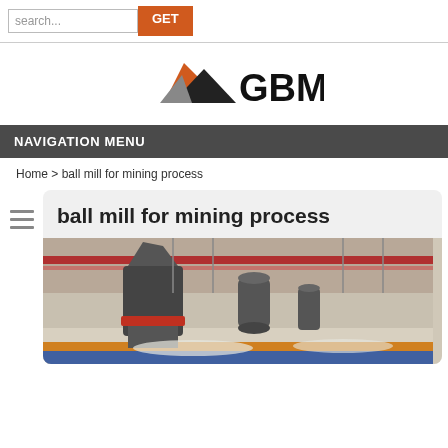search... GET
[Figure (logo): GBM company logo with orange and black mountain/triangle shapes]
NAVIGATION MENU
Home > ball mill for mining process
ball mill for mining process
[Figure (photo): Industrial mining machinery - ball mills and equipment in a facility with scaffolding in background]